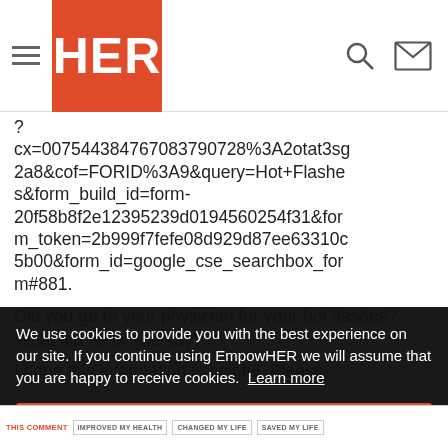HER (EmpowHER logo)
?cx=007544384767083790728%3A2otat3sg2a8&cof=FORID%3A9&query=Hot+Flashes&form_build_id=form-20f58b8f2e12395239d0194560254f31&form_token=2b999f7fefe08d929d87ee63310c5b00&form_id=google_cse_searchbox_form#881.
Did you go to your physician for your hot flashes? What did he or she say?
I hope this information is helpful. Please
We use cookies to provide you with the best experience on our site. If you continue using EmpowHER we will assume that you are happy to receive cookies. Learn more
Got it!